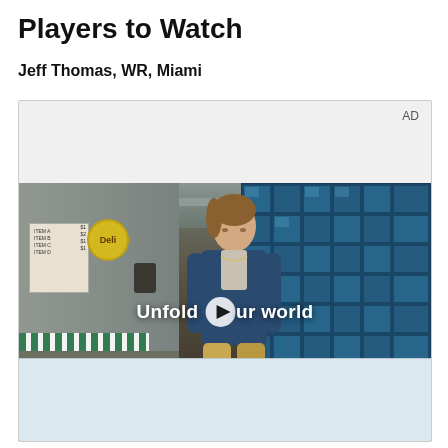Players to Watch
Jeff Thomas, WR, Miami
[Figure (photo): Video advertisement player showing a young man walking in a diner/store setting with a blue glass block wall behind him. A play button overlay and the text 'Unfold your world' are visible. An 'AD' label appears in the upper right of the ad container.]